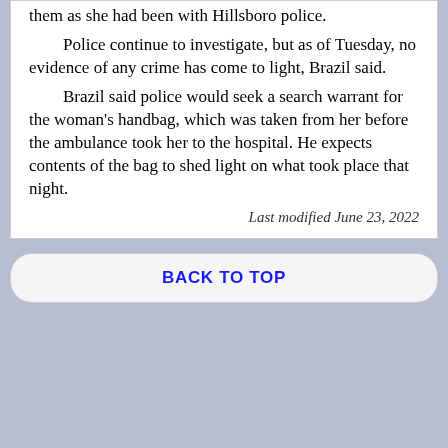them as she had been with Hillsboro police. Police continue to investigate, but as of Tuesday, no evidence of any crime has come to light, Brazil said. Brazil said police would seek a search warrant for the woman's handbag, which was taken from her before the ambulance took her to the hospital. He expects contents of the bag to shed light on what took place that night.
Last modified June 23, 2022
BACK TO TOP